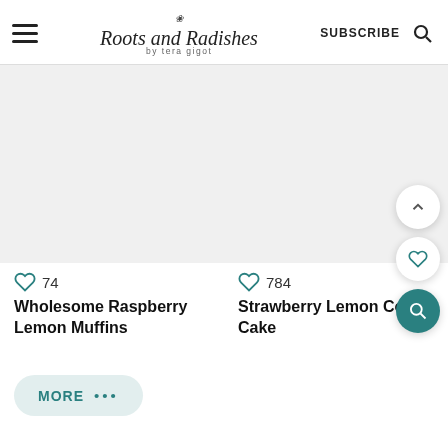Roots and Radishes by tera gigot | SUBSCRIBE
[Figure (screenshot): Two recipe card thumbnails: 'Wholesome Raspberry Lemon Muffins' with 74 likes, and 'Strawberry Lemon Coffee Cake' with 784 likes. Website navigation for Roots and Radishes blog with subscribe button, hamburger menu, and search icons. A 'MORE ...' button and floating action buttons (scroll up, heart, teal search).]
Wholesome Raspberry Lemon Muffins
Strawberry Lemon Coffee Cake